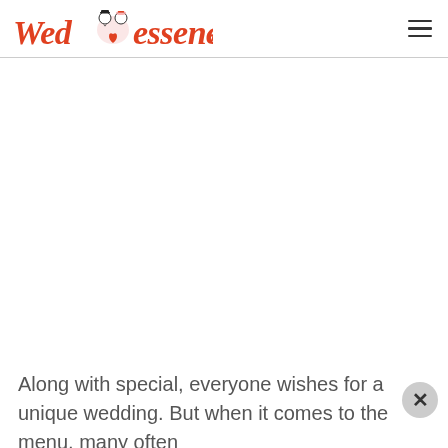Wedessence
[Figure (illustration): Wedessence logo with illustrated bride and groom icons between 'Wed' and 'essence' text in red/coral color]
Along with special, everyone wishes for a unique wedding. But when it comes to the menu, many often